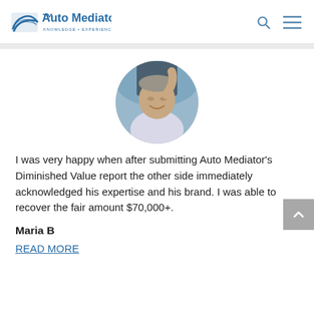Auto Mediator — KNOWLEDGE + EXPERIENCE + EXPERTISE
[Figure (photo): Circular profile photo of a middle-aged man smiling outdoors, wearing a white shirt, with his arm raised.]
I was very happy when after submitting Auto Mediator's Diminished Value report the other side immediately acknowledged his expertise and his brand. I was able to recover the fair amount $70,000+.
Maria B
READ MORE